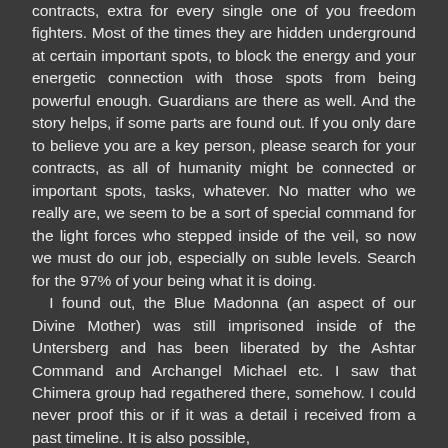contracts, extra for every single one of you freedom fighters. Most of the times they are hidden underground at certain important spots, to block the energy and your energetic connection with those spots from being powerful enough. Guardians are there as well. And the story helps, if some parts are found out. If you only dare to believe you are a key person, please search for your contracts, as all of humanity might be connected or important spots, tasks, whatever. No matter who we really are, we seem to be a sort of special command for the light forces who stepped inside of the veil, so now we must do our job, especially on suble levels. Search for the 97% of your being what it is doing. I found out, the Blue Madonna (an aspect of our Divine Mother) was still imprisoned inside of the Untersberg and has been liberated by the Ashtar Command and Archangel Michael etc. I saw that Chimera group had regathered there, somehow. I could never proof this or if it was a detail i received from a past timeline. It is also possible,